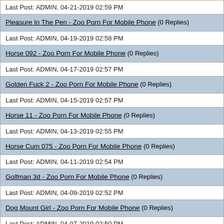Last Post: ADMIN, 04-21-2019 02:59 PM
Pleasure In The Pen - Zoo Porn For Mobile Phone (0 Replies)
Last Post: ADMIN, 04-19-2019 02:58 PM
Horse 092 - Zoo Porn For Mobile Phone (0 Replies)
Last Post: ADMIN, 04-17-2019 02:57 PM
Golden Fuck 2 - Zoo Porn For Mobile Phone (0 Replies)
Last Post: ADMIN, 04-15-2019 02:57 PM
Horse 11 - Zoo Porn For Mobile Phone (0 Replies)
Last Post: ADMIN, 04-13-2019 02:55 PM
Horse Cum 075 - Zoo Porn For Mobile Phone (0 Replies)
Last Post: ADMIN, 04-11-2019 02:54 PM
Golfman 3d - Zoo Porn For Mobile Phone (0 Replies)
Last Post: ADMIN, 04-09-2019 02:52 PM
Dog Mount Girl - Zoo Porn For Mobile Phone (0 Replies)
Last Post: ADMIN, 04-07-2019 02:50 PM
Bilara Blow Job - Zoo Porn For Mobile Phone (0 Replies)
Last Post: ADMIN, 04-05-2019 02:50 PM
German Woman And Her Dog - Zoo Porn For Mobile Phone (0 Replies)